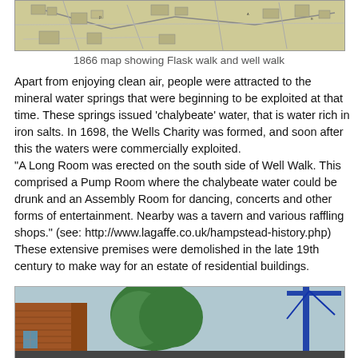[Figure (map): 1866 map showing Flask walk and well walk area, historical black and white map]
1866 map showing Flask walk and well walk
Apart from enjoying clean air, people were attracted to the mineral water springs that were beginning to be exploited at that time. These springs issued ‘chalybeate’ water, that is water rich in iron salts. In 1698, the Wells Charity was formed, and soon after this the waters were commercially exploited.
“A Long Room was erected on the south side of Well Walk. This comprised a Pump Room where the chalybeate water could be drunk and an Assembly Room for dancing, concerts and other forms of entertainment. Nearby was a tavern and various raffling shops.” (see: http://www.lagaffe.co.uk/hampstead-history.php)
These extensive premises were demolished in the late 19th century to make way for an estate of residential buildings.
[Figure (photo): Photograph showing brick buildings and trees, with construction crane visible on the right side]